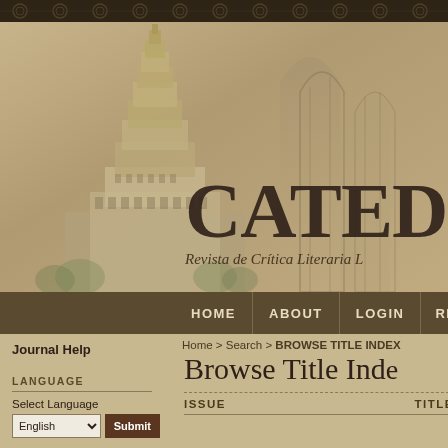[Figure (photo): Sepia-toned header image showing the Cathedral of Learning building and gothic arch windows on a tan/brown background, with the text 'CATED' and 'Revista de Crítica Literaria' overlaid]
HOME   ABOUT   LOGIN   RE...
Home > Search > BROWSE TITLE INDEX
Journal Help
LANGUAGE
Select Language
Browse Title Inde...
| ISSUE | TITLE |
| --- | --- |